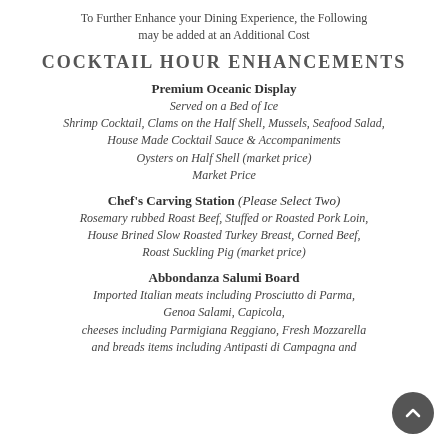To Further Enhance your Dining Experience, the Following may be added at an Additional Cost
COCKTAIL HOUR ENHANCEMENTS
Premium Oceanic Display
Served on a Bed of Ice
Shrimp Cocktail, Clams on the Half Shell, Mussels, Seafood Salad,
House Made Cocktail Sauce & Accompaniments
Oysters on Half Shell (market price)
Market Price
Chef's Carving Station (Please Select Two)
Rosemary rubbed Roast Beef, Stuffed or Roasted Pork Loin, House Brined Slow Roasted Turkey Breast, Corned Beef, Roast Suckling Pig (market price)
Abbondanza Salumi Board
Imported Italian meats including Prosciutto di Parma, Genoa Salami, Capicola,
cheeses including Parmigiana Reggiano, Fresh Mozzarella
and breads items including Antipasti di Campagna and